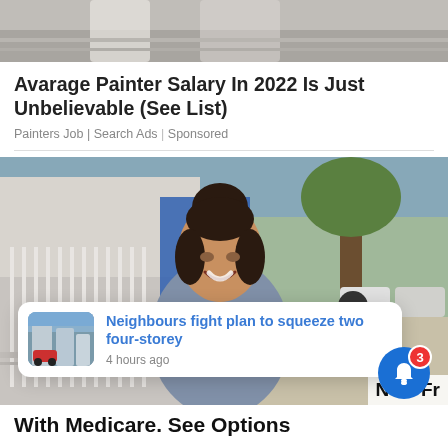[Figure (photo): Top portion of a painter in white clothes, cropped photo at top of page]
Avarage Painter Salary In 2022 Is Just Unbelievable (See List)
Painters Job | Search Ads | Sponsored
[Figure (photo): Woman with dark hair in a bun, wearing a grey top, smiling outdoors near a building with a fence and a tree-lined street in the background. A notification popup overlays the image showing: 'Neighbours fight plan to squeeze two four-storey' with '4 hours ago'. An X button appears center-right. A blue bell notification icon with badge '3' appears bottom-right.]
Now Fr
With Medicare. See Options